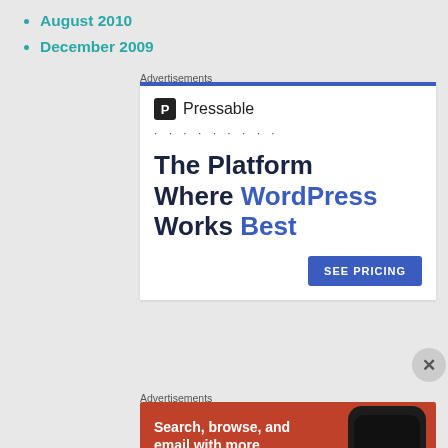August 2010
December 2009
Advertisements
[Figure (illustration): Pressable advertisement: logo with 'P' icon and 'Pressable' wordmark, dotted line, headline 'The Platform Where WordPress Works Best', blue 'SEE PRICING' button]
Advertisements
[Figure (illustration): DuckDuckGo advertisement on orange/red background showing 'Search, browse, and email with more privacy. All in One Free App' with phone mockup and DuckDuckGo logo]